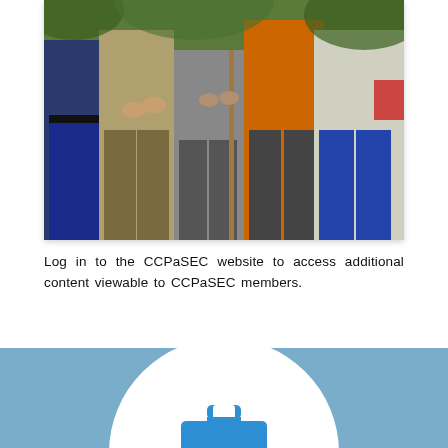[Figure (photo): Group of people standing outdoors, partially visible from waist down, green vegetation in background, one person wearing an orange vest]
Log in to the CCPaSEC website to access additional content viewable to CCPaSEC members.
[Figure (illustration): Blue briefcase icon centered in a white circle on a blue background]